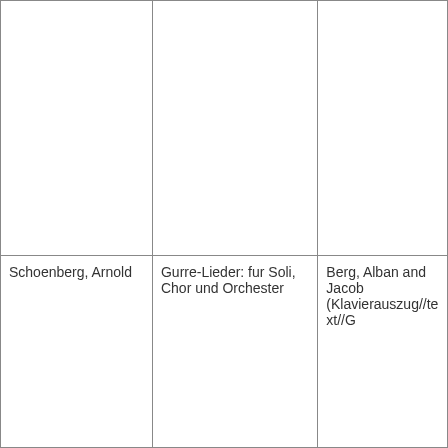|  |  |  |
| Schoenberg, Arnold | Gurre-Lieder: fur Soli, Chor und Orchester | Berg, Alban and Jacob (Klavierauszug//text//G |